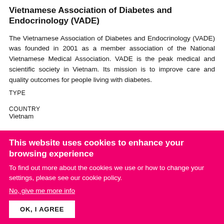Vietnamese Association of Diabetes and Endocrinology (VADE)
The Vietnamese Association of Diabetes and Endocrinology (VADE) was founded in 2001 as a member association of the National Vietnamese Medical Association. VADE is the peak medical and scientific society in Vietnam. Its mission is to improve care and quality outcomes for people living with diabetes.
TYPE
COUNTRY
Vietnam
COUNTRY SPECIFIC
This website uses cookies to enhance your browsing experience
To find out more about the cookies we use or how to change your settings, please see our cookie policy.
No, give me more info
OK, I AGREE